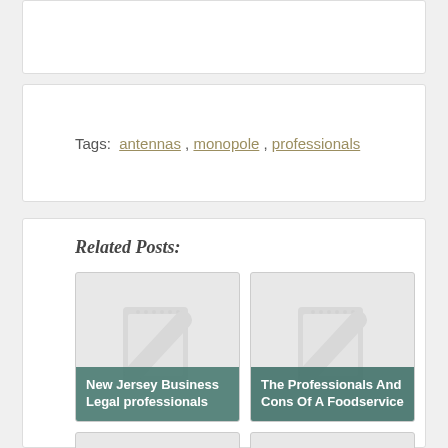Tags:  antennas , monopole , professionals
Related Posts:
[Figure (illustration): New Jersey Business Legal professionals - placeholder image card]
[Figure (illustration): The Professionals And Cons Of A Foodservice - placeholder image card]
[Figure (illustration): The Professionals - placeholder image card]
[Figure (illustration): Multiband Microstrip - placeholder image card]